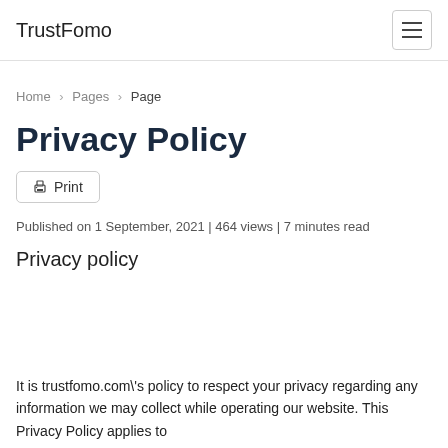TrustFomo
Home > Pages > Page
Privacy Policy
Print
Published on 1 September, 2021 | 464 views | 7 minutes read
Privacy policy
It is trustfomo.com\'s policy to respect your privacy regarding any information we may collect while operating our website. This Privacy Policy applies to